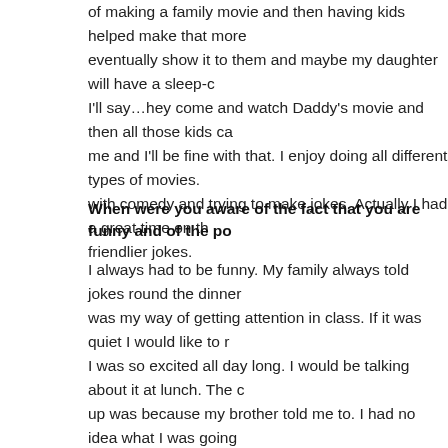of making a family movie and then having kids helped make that more… eventually show it to them and maybe my daughter will have a sleep-c… I'll say…hey come and watch Daddy's movie and then all those kids ca… me and I'll be fine with that. I enjoy doing all different types of movies. … with comedy and trying to make jokes. Actually I had a great time on th… friendlier jokes.
When were you aware of the fact that you are funny and of the po…
I always had to be funny. My family always told jokes round the dinner… was my way of getting attention in class. If it was quiet I would like to r… I was so excited all day long. I would be talking about it at lunch. The c… up was because my brother told me to. I had no idea what I was going… and my brother went to a comedy club and he said – you can do that. … do and that's the only reason that I got into it. But I did not feel confide… 23. It took about five years to start being ok with my friends showing u…
What does your daughter think Daddy does for a living?
She is pretty funny about that. She always pretends that she has to go… Sony and she starts packing up and when I ask where she's going she…